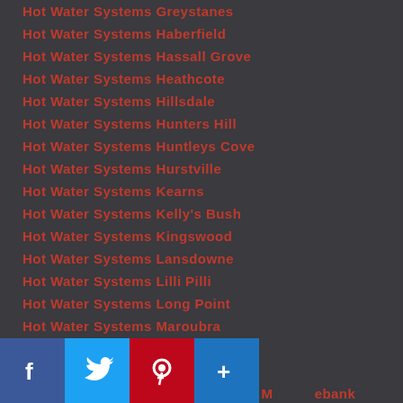Hot Water Systems Greystanes
Hot Water Systems Haberfield
Hot Water Systems Hassall Grove
Hot Water Systems Heathcote
Hot Water Systems Hillsdale
Hot Water Systems Hunters Hill
Hot Water Systems Huntleys Cove
Hot Water Systems Hurstville
Hot Water Systems Kearns
Hot Water Systems Kelly's Bush
Hot Water Systems Kingswood
Hot Water Systems Lansdowne
Hot Water Systems Lilli Pilli
Hot Water Systems Long Point
Hot Water Systems Maroubra
Hot Water Systems Marsfield
Hot Water Systems Mascot
Hot Water Systems Milsons Point / Milbank
Hot Water Systems Mortdale